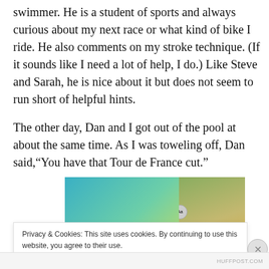swimmer. He is a student of sports and always curious about my next race or what kind of bike I ride. He also comments on my stroke technique. (If it sounds like I need a lot of help, I do.) Like Steve and Sarah, he is nice about it but does not seem to run short of helpful hints.
The other day, Dan and I got out of the pool at about the same time. As I was toweling off, Dan said,"You have that Tour de France cut."
[Figure (screenshot): Advertisement banner showing the word 'stories.' in stylized italic text on a teal-to-green gradient background, with a partial photo of a person in yellow athletic gear on the right side.]
Privacy & Cookies: This site uses cookies. By continuing to use this website, you agree to their use.
To find out more, including how to control cookies, see here: Cookie Policy